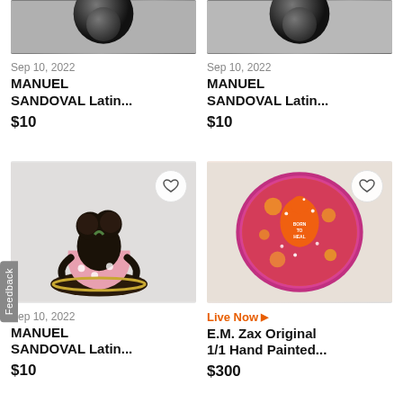[Figure (photo): Black ceramic ball/sculpture, top portion visible, gray background]
Sep 10, 2022
MANUEL SANDOVAL Latin...
$10
[Figure (photo): Black ceramic ball/sculpture, top portion visible, gray background]
Sep 10, 2022
MANUEL SANDOVAL Latin...
$10
[Figure (photo): Black ceramic figurine of two women in traditional dress, pink and black with white flowers, sitting on a round base]
Sep 10, 2022
MANUEL SANDOVAL Latin...
$10
[Figure (photo): Colorful round plate/disc in red, orange, purple with silhouette of a figure and text, sparkly decorative art]
Live Now ▶
E.M. Zax Original 1/1 Hand Painted...
$300